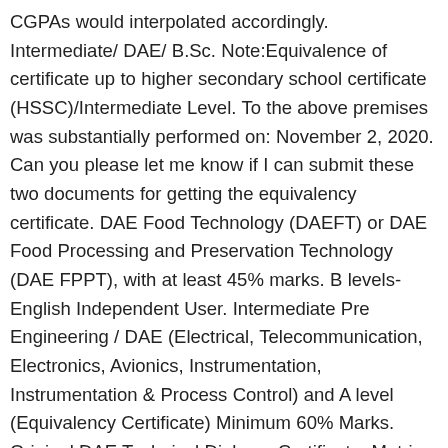CGPAs would interpolated accordingly. Intermediate/ DAE/ B.Sc. Note:Equivalence of certificate up to higher secondary school certificate (HSSC)/Intermediate Level. To the above premises was substantially performed on: November 2, 2020. Can you please let me know if I can submit these two documents for getting the equivalency certificate. DAE Food Technology (DAEFT) or DAE Food Processing and Preservation Technology (DAE FPPT), with at least 45% marks. B levels- English Independent User. Intermediate Pre Engineering / DAE (Electrical, Telecommunication, Electronics, Avionics, Instrumentation, Instrumentation & Process Control) and A level (Equivalency Certificate) Minimum 60% Marks. Original DAE Technical Diploma Certificate; Matric SSC Certificate; CNIC copy; Fee Receipt ; Receipt of fees submission shall be submitted to PBTE office, along with documents mentioned above. American High School Graduation Diploma (12th Grade) or equivalent. Third Level Education qualification, HND/Degree or higher and equivalent. 159: BS Physics: At least 2nd Division in FSc (Pre-Engineering) or ICS (Math, Physics with 2nd Division) 160: BS Urdu...